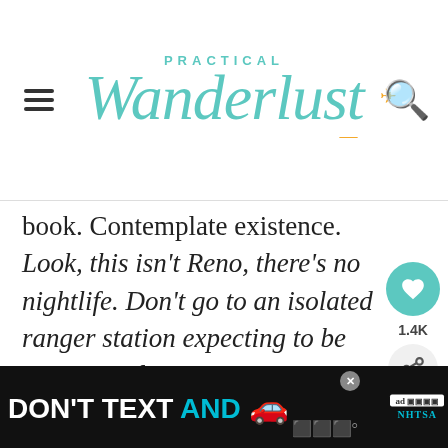Practical Wanderlust
book. Contemplate existence. Look, this isn't Reno, there's no nightlife. Don't go to an isolated ranger station expecting to be entertained.
Cost: $60 per night Verdict: If total aloneness isn't your thing, bring a low-stress companion who is down to just exist and chill and gaze at stars and think about life.
Distance from the Bay Area: 4 hours!
[Figure (other): Advertisement banner: DON'T TEXT AND (car emoji) with NHTSA branding]